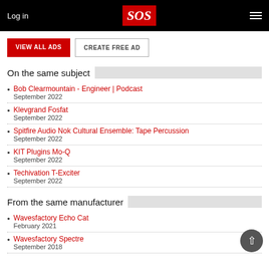Log in | SOS | menu
VIEW ALL ADS | CREATE FREE AD
On the same subject
Bob Clearmountain - Engineer | Podcast
September 2022
Klevgrand Fosfat
September 2022
Spitfire Audio Nok Cultural Ensemble: Tape Percussion
September 2022
KIT Plugins Mo-Q
September 2022
Techivation T-Exciter
September 2022
From the same manufacturer
Wavesfactory Echo Cat
February 2021
Wavesfactory Spectre
September 2018